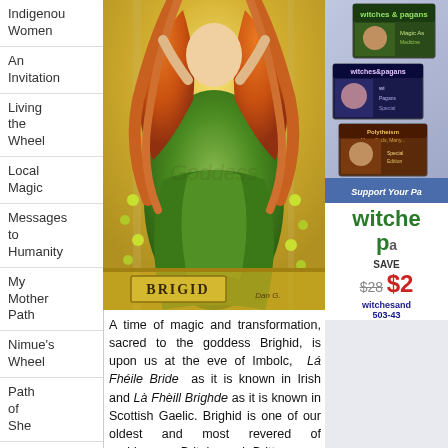Indigenous Women
An Invitation
Living the Wheel
Local Magic
Messages to Humanity
My Mother Path
Nimue's Wheel
Path of She
Priestess Grove
Sedna's
[Figure (illustration): Painting of the goddess Brigid in a green dress with flowing red-orange hair, standing in a golden light. A decorative label at the bottom reads BRIGID with an artist signature.]
A time of magic and transformation, sacred to the goddess Brighid, is upon us at the eve of Imbolc, Lá Fhéile Bride as it is known in Irish and Là Fhèill Brighde as it is known in Scottish Gaelic. Brighid is one of our oldest and most revered of goddesses, Britain and Brittany are both named after Her, she is the
[Figure (photo): Magazine covers for Witches & Pagans issues showing various themes including Polytheism and other pagan topics.]
Support Your Pa
witche pa SAVE $28 $2
witchesand 503-43
[Figure (photo): Bottom advertisement showing a colorful magazine cover with women figures, possibly a Sings/music themed issue.]